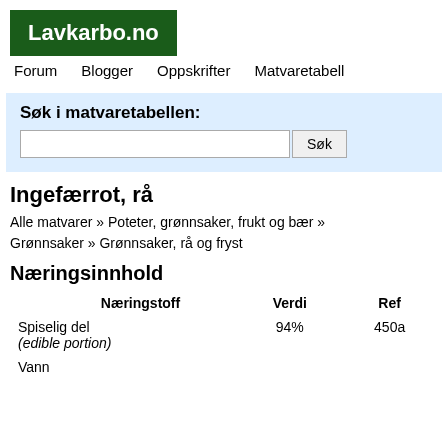Lavkarbo.no
Forum  Blogger  Oppskrifter  Matvaretabell
Søk i matvaretabellen: [search input] Søk
Ingefærrot, rå
Alle matvarer » Poteter, grønnsaker, frukt og bær » Grønnsaker » Grønnsaker, rå og fryst
Næringsinnhold
| Næringstoff | Verdi | Ref |
| --- | --- | --- |
| Spiselig del
(edible portion) | 94% | 450a |
| Vann |  |  |